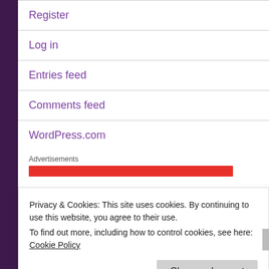Register
Log in
Entries feed
Comments feed
WordPress.com
Advertisements
Privacy & Cookies: This site uses cookies. By continuing to use this website, you agree to their use.
To find out more, including how to control cookies, see here: Cookie Policy
Close and accept